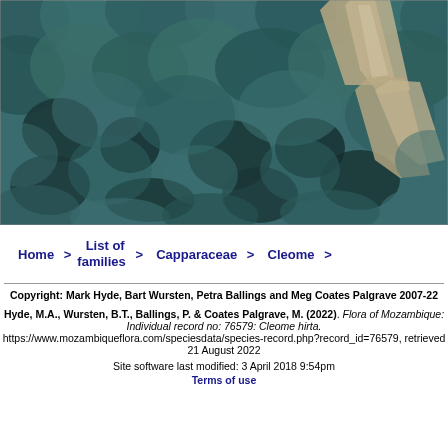[Figure (photo): Aerial satellite view of dense forest canopy (dark green/teal tones) with a light-colored dirt path or road visible cutting diagonally through the upper right portion of the image.]
Home > List of families > Capparaceae > Cleome >
Copyright: Mark Hyde, Bart Wursten, Petra Ballings and Meg Coates Palgrave 2007-22
Hyde, M.A., Wursten, B.T., Ballings, P. & Coates Palgrave, M. (2022). Flora of Mozambique: Individual record no: 76579: Cleome hirta. https://www.mozambiqueflora.com/speciesdata/species-record.php?record_id=76579, retrieved 21 August 2022
Site software last modified: 3 April 2018 9:54pm
Terms of use